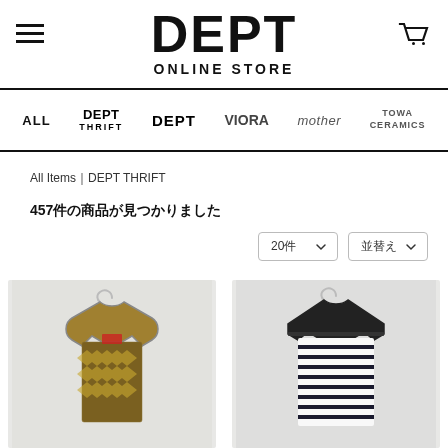DEPT ONLINE STORE
ALL  DEPT THRIFT  DEPT  VIORA  mother  TOWA CERAMICS
All Items｜DEPT THRIFT
457件の商品が見つかりました
[Figure (screenshot): Two product photos on hangers against a light grey background. Left: patterned jacket. Right: striped garment on black hanger.]